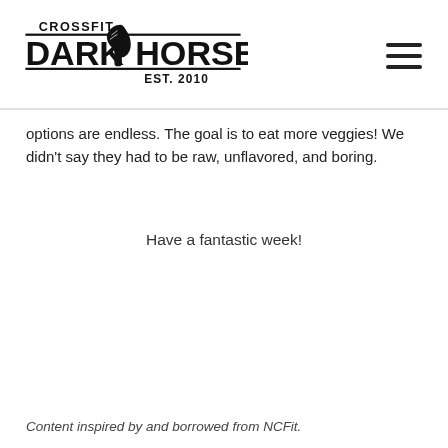CrossFit Dark Horse EST. 2010
options are endless. The goal is to eat more veggies! We didn't say they had to be raw, unflavored, and boring.
Have a fantastic week!
Content inspired by and borrowed from NCFit.